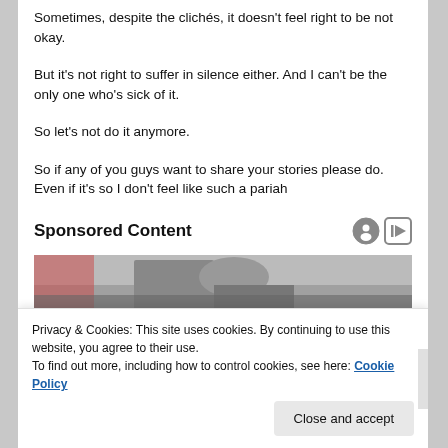Sometimes, despite the clichés, it doesn't feel right to be not okay.
But it's not right to suffer in silence either. And I can't be the only one who's sick of it.
So let's not do it anymore.
So if any of you guys want to share your stories please do. Even if it's so I don't feel like such a pariah
Sponsored Content
[Figure (photo): Advertisement image showing people, partially visible]
Privacy & Cookies: This site uses cookies. By continuing to use this website, you agree to their use.
To find out more, including how to control cookies, see here: Cookie Policy
Close and accept